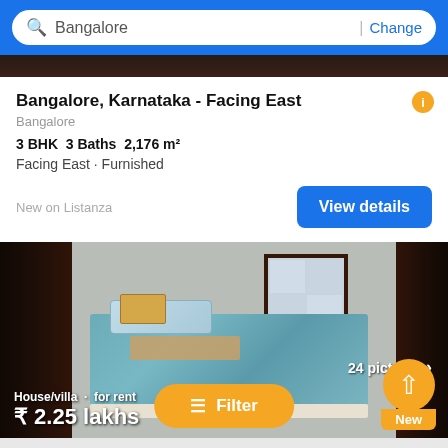Bangalore | Change
[Figure (screenshot): Dark photo strip from property image, partially cropped]
Bangalore, Karnataka - Facing East
Bangalore
3 BHK   3 Baths   2,176 m²
Facing East · Furnished
New on Listanza
View details
[Figure (photo): Bedroom interior photo showing a bed with blue floral bedding, dark wooden frames on left and right, window in background]
24 pictures >
House/villa · for rent
₹ 2.25 lakhs
Filter